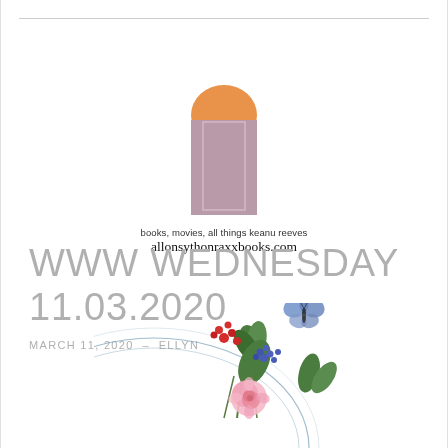[Figure (logo): Blog logo: stylized book/arch shape in orange and mauve/pink tones]
books, movies, all things keanu reeves
allonsythonraxxbooks.com
WWW WEDNESDAY
11.03.2020
MARCH 11, 2020  –  ELLYN
[Figure (illustration): Decorative floral illustration with pink roses, red and blue flowers, green leaves, and a blue butterfly, with circular arc lines in the background]